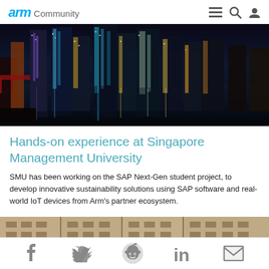arm Community
[Figure (photo): Nighttime cityscape of Singapore with illuminated skyscrapers reflected in water]
Hands-on experience at Singapore Management University
SMU has been working on the SAP Next-Gen student project, to develop innovative sustainability solutions using SAP software and real-world IoT devices from Arm's partner ecosystem.
[Figure (photo): Partial view of a classical stone building facade with columns and windows]
Social sharing icons: Facebook, Twitter, Reddit, LinkedIn, Email